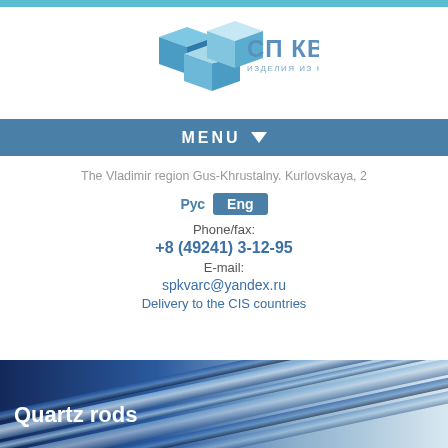[Figure (logo): СП КВАРЦ logo with blue 3D cubes and tagline 'изделия из кварцевого стекла']
MENU
The Vladimir region Gus-Khrustalny. Kurlovskaya, 2
Рус  Eng
Phone/fax:
+8 (49241) 3-12-95
E-mail:
spkvarc@yandex.ru
Delivery to the CIS countries
[Figure (photo): Banner image showing blue metallic quartz rods with text 'Quartz rods']